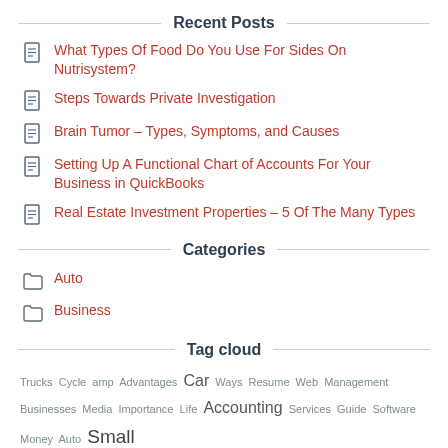Recent Posts
What Types Of Food Do You Use For Sides On Nutrisystem?
Steps Towards Private Investigation
Brain Tumor – Types, Symptoms, and Causes
Setting Up A Functional Chart of Accounts For Your Business in QuickBooks
Real Estate Investment Properties – 5 Of The Many Types
Categories
Auto
Business
Tag cloud
Trucks Cycle amp Advantages Car Ways Resume Web Management Businesses Media Importance Life Accounting Services Guide Software Money Auto Small